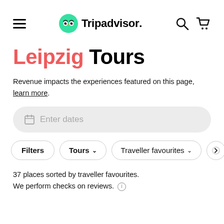Tripadvisor navigation bar with hamburger menu, Tripadvisor logo, search and cart icons
Leipzig Tours
Revenue impacts the experiences featured on this page, learn more.
[Figure (screenshot): Enter dates input field with calendar icon, rounded grey pill shape]
[Figure (screenshot): Filter row with Filters button, Tours dropdown, Traveller favourites dropdown, and a chevron next button]
37 places sorted by traveller favourites.
We perform checks on reviews.